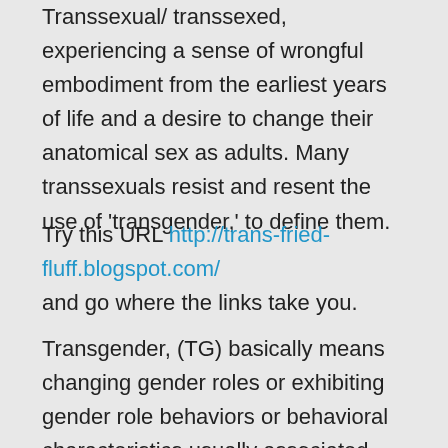Transsexual/ transsexed, experiencing a sense of wrongful embodiment from the earliest years of life and a desire to change their anatomical sex as adults. Many transsexuals resist and resent the use of 'transgender,' to define them.
Try this URL http://trans-fried-fluff.blogspot.com/ and go where the links take you.
Transgender, (TG) basically means changing gender roles or exhibiting gender role behaviors or behavioral characteristics usually associated with the sex opposite that of the individual.